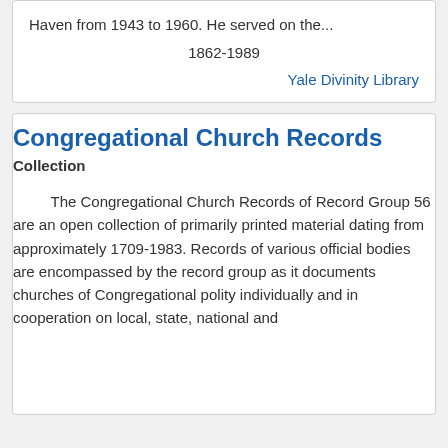Haven from 1943 to 1960. He served on the...
1862-1989
Yale Divinity Library
Congregational Church Records
Collection
The Congregational Church Records of Record Group 56 are an open collection of primarily printed material dating from approximately 1709-1983. Records of various official bodies are encompassed by the record group as it documents churches of Congregational polity individually and in cooperation on local, state, national and